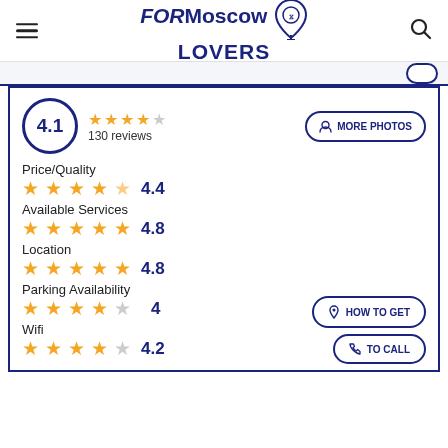FORMoscow LOVERS
4.1 · 130 reviews
MORE PHOTOS
Price/Quality · 4.4
Available Services · 4.8
Location · 4.8
Parking Availability · 4
Wifi · 4.2
HOW TO GET
TO CALL